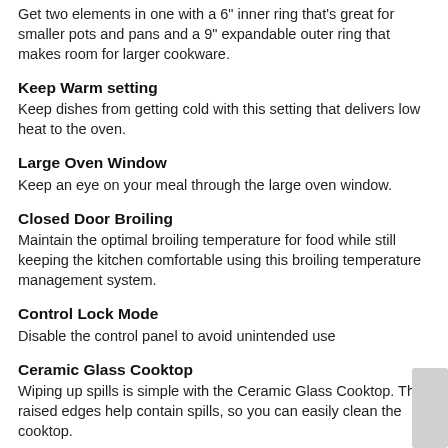Get two elements in one with a 6" inner ring that's great for smaller pots and pans and a 9" expandable outer ring that makes room for larger cookware.
Keep Warm setting
Keep dishes from getting cold with this setting that delivers low heat to the oven.
Large Oven Window
Keep an eye on your meal through the large oven window.
Closed Door Broiling
Maintain the optimal broiling temperature for food while still keeping the kitchen comfortable using this broiling temperature management system.
Control Lock Mode
Disable the control panel to avoid unintended use
Ceramic Glass Cooktop
Wiping up spills is simple with the Ceramic Glass Cooktop. The raised edges help contain spills, so you can easily clean the cooktop.